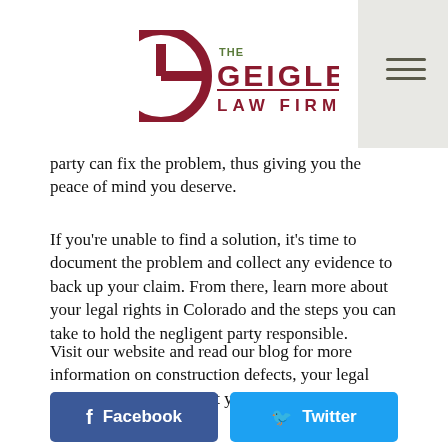The Geigle Law Firm
party can fix the problem, thus giving you the peace of mind you deserve.
If you’re unable to find a solution, it’s time to document the problem and collect any evidence to back up your claim. From there, learn more about your legal rights in Colorado and the steps you can take to hold the negligent party responsible.
Visit our website and read our blog for more information on construction defects, your legal rights and how to protect yourself.
[Figure (infographic): Social sharing buttons: Facebook (dark blue), Twitter (light blue), LinkedIn (medium blue)]